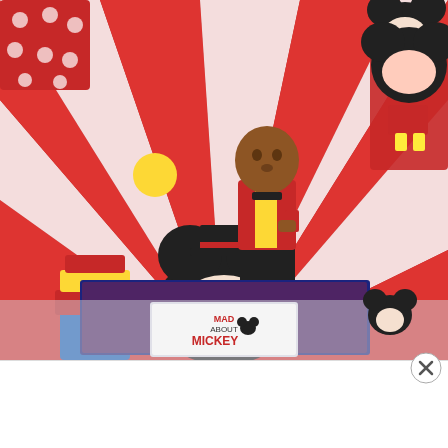[Figure (photo): A young boy at a Mickey Mouse themed birthday party. The boy is wearing a red, black, and yellow outfit. He is surrounded by Mickey Mouse decorations, a birthday cake with the number 3, a Mickey Mouse backdrop, and Mickey Mouse plush toys. A banner reading 'KING' is visible in the lower portion. Below that is a second photo showing a 'Mad About Mickey' book on a light background.]
Advertisements
[Figure (logo): Pocket Casts advertisement banner. Shows a colorful app icon grid on the left, text 'The go-to app for podcast lovers.' in the center, and the Pocket Casts logo with brand name on the right.]